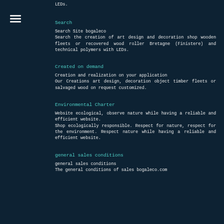LEDs.
[Figure (other): Hamburger menu icon with three horizontal lines]
Search
Search Site bogaleco
Search the creation of art design and decoration shop wooden fleets or recovered wood roller Bretagne (Finistere) and technical polymers with LEDs.
Created on demand
Creation and realization on your application
Our Creations art design, decoration object timber fleets or salvaged wood on request customized.
Environmental Charter
Website ecological, observe nature while having a reliable and efficient website.
Shop ecologically responsible. Respect for nature, respect for the environment. Respect nature while having a reliable and efficient website.
general sales conditions
general sales conditions
The general conditions of sales bogaleco.com